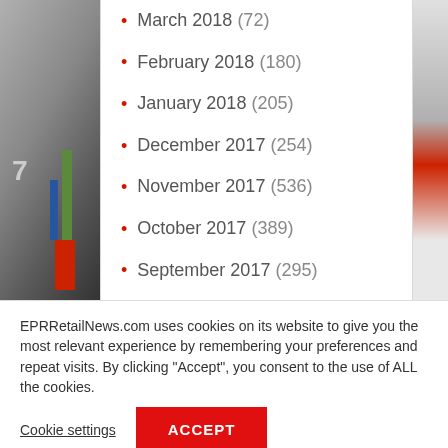March 2018 (72)
February 2018 (180)
January 2018 (205)
December 2017 (254)
November 2017 (536)
October 2017 (389)
September 2017 (295)
August 2017 (482)
EPRRetailNews.com uses cookies on its website to give you the most relevant experience by remembering your preferences and repeat visits. By clicking “Accept”, you consent to the use of ALL the cookies.
Cookie settings
ACCEPT